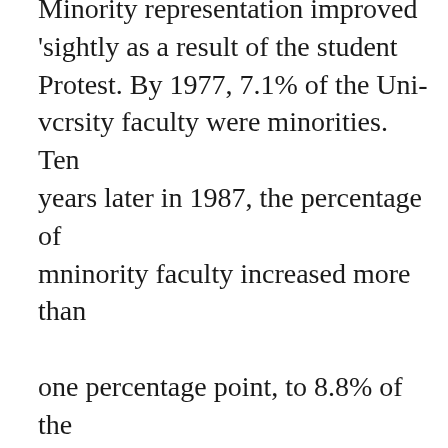Minority representation improved 'sightly as a result of the student Protest. By 1977, 7.1% of the University faculty were minorities. Ten years later in 1987, the percentage of mninority faculty increased more than one percentage point, to 8.8% of the total faculty. In 1987, members of student organizations such as the United Coalition Against Racism (UCAR) and BAM organized a sit-in at the Fleming Building and reinstated their demands that the faculty be more...